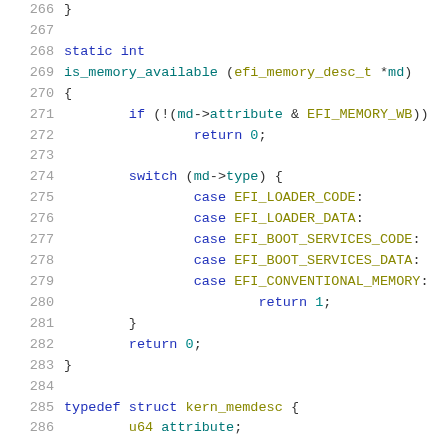Source code listing lines 266-286, C language, showing is_memory_available function and beginning of kern_memdesc typedef struct